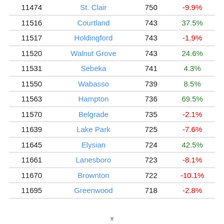|  | Name | Population | Change |
| --- | --- | --- | --- |
| 11474 | St. Clair | 750 | -9.9% |
| 11516 | Courtland | 743 | 37.5% |
| 11517 | Holdingford | 743 | -1.9% |
| 11520 | Walnut Grove | 743 | 24.6% |
| 11531 | Sebeka | 741 | 4.3% |
| 11550 | Wabasso | 739 | 8.5% |
| 11563 | Hampton | 736 | 69.5% |
| 11570 | Belgrade | 735 | -2.1% |
| 11639 | Lake Park | 725 | -7.6% |
| 11645 | Elysian | 724 | 42.5% |
| 11661 | Lanesboro | 723 | -8.1% |
| 11670 | Brownton | 722 | -10.1% |
| 11695 | Greenwood | 718 | -2.8% |